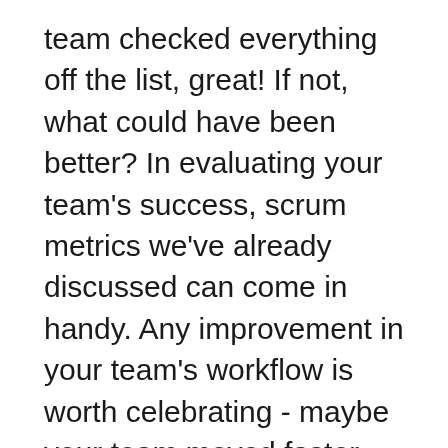team checked everything off the list, great! If not, what could have been better? In evaluating your team's success, scrum metrics we've already discussed can come in handy. Any improvement in your team's workflow is worth celebrating - maybe your team moved faster because there wasn't any scope creep. For teams practicing DevOps, this can also be a place to review key DevOps metrics, such as cycle time or deployment frequency, to discuss improvements in the delivery process that can increase the likelihood of completing sprint goals. Doing so will help your team address the issue and come up with a clearer action